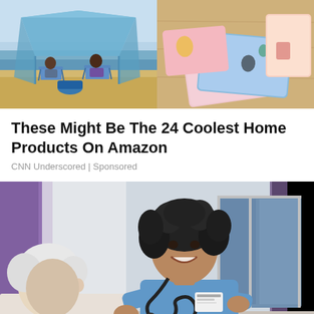[Figure (photo): Two people sitting in beach chairs under a blue canopy tent on a sandy beach, seen from behind; on the right, colorful tropical-themed notebooks/wallets with toucan and flamingo patterns on a wooden surface]
These Might Be The 24 Coolest Home Products On Amazon
CNN Underscored | Sponsored
[Figure (photo): A smiling female nurse/doctor in blue scrubs with a stethoscope attending to an elderly white-haired patient, in a bright room with purple curtains and blue windows in the background]